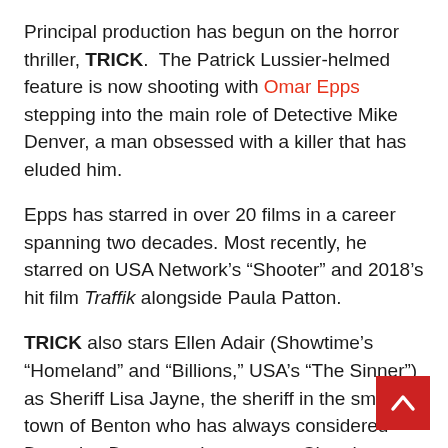Principal production has begun on the horror thriller, TRICK. The Patrick Lussier-helmed feature is now shooting with Omar Epps stepping into the main role of Detective Mike Denver, a man obsessed with a killer that has eluded him.
Epps has starred in over 20 films in a career spanning two decades. Most recently, he starred on USA Network's “Shooter” and 2018’s hit film Traffik alongside Paula Patton.
TRICK also stars Ellen Adair (Showtime’s “Homeland” and “Billions,” USA’s “The Sinner”) as Sheriff Lisa Jayne, the sheriff in the small town of Benton who has always considered Detective Denver as her mentor. Cheryl Winston, the only survivor of the latest round of killings in her small town, will be played by Kristina Reyes